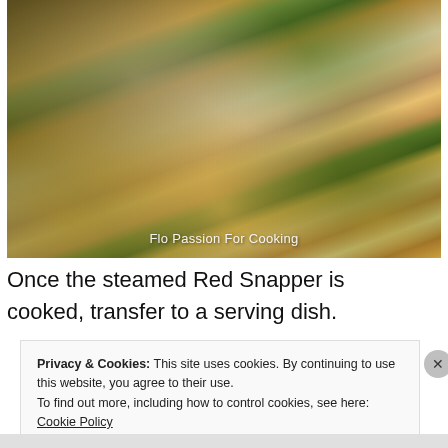[Figure (photo): A steamed Red Snapper fish on a serving dish, topped with golden fried garlic and green onions, with a dark sauce. Watermark reads 'Flo Passion For Cooking'.]
Once the steamed Red Snapper is cooked, transfer to a serving dish.
Privacy & Cookies: This site uses cookies. By continuing to use this website, you agree to their use.
To find out more, including how to control cookies, see here: Cookie Policy
Close and accept